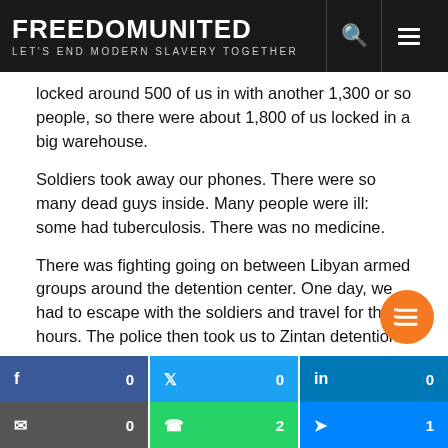FREEDOM UNITED — LET'S END MODERN SLAVERY TOGETHER
locked around 500 of us in with another 1,300 or so people, so there were about 1,800 of us locked in a big warehouse.
Soldiers took away our phones. There were so many dead guys inside. Many people were ill: some had tuberculosis. There was no medicine.
There was fighting going on between Libyan armed groups around the detention center. One day, we had to escape with the soldiers and travel for three hours. The police then took us to Zintan detention center where I was held for 8 months.
In the prison, there was no sunlight. There was no fresh air. At the time, there was some European chief visiting and some peop…